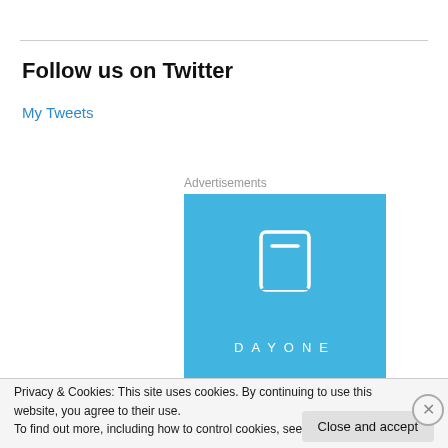Follow us on Twitter
My Tweets
Advertisements
[Figure (logo): DayOne app advertisement with blue background, white bookmark icon and DAYONE text]
Privacy & Cookies: This site uses cookies. By continuing to use this website, you agree to their use.
To find out more, including how to control cookies, see here: Cookie Policy
Close and accept